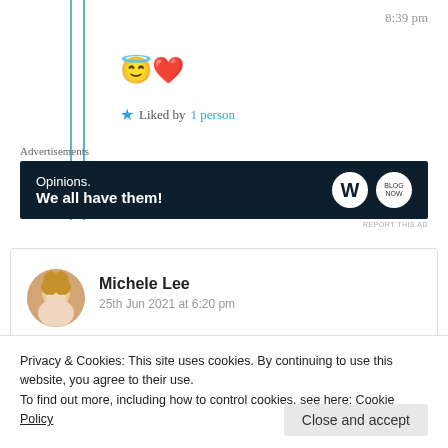8:39 pm
[Figure (illustration): Emoji row: halo angel face emoji and red heart emoji]
★ Liked by 1 person
Advertisements
[Figure (other): WordPress advertisement banner: 'Opinions. We all have them!' with WordPress and Blog Now logos on dark navy background]
REPORT THIS AD
Michele Lee
25th Jun 2021 at 6:20 pm
Privacy & Cookies: This site uses cookies. By continuing to use this website, you agree to their use.
To find out more, including how to control cookies, see here: Cookie Policy
Close and accept
★ Liked by 2 people